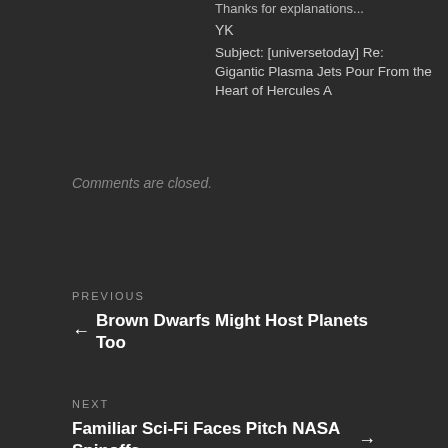Thanks for explanations...
YK
Subject: [universetoday] Re: Gigantic Plasma Jets Pour From the Heart of Hercules A
Comments are closed.
PREVIOUS
← Brown Dwarfs Might Host Planets Too
NEXT
Familiar Sci-Fi Faces Pitch NASA Spinoffs →